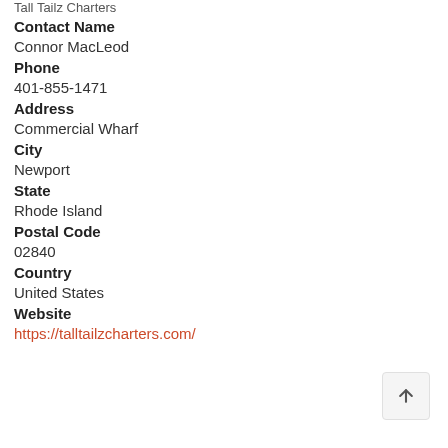Tall Tailz Charters
Contact Name
Connor MacLeod
Phone
401-855-1471
Address
Commercial Wharf
City
Newport
State
Rhode Island
Postal Code
02840
Country
United States
Website
https://talltailzcharters.com/